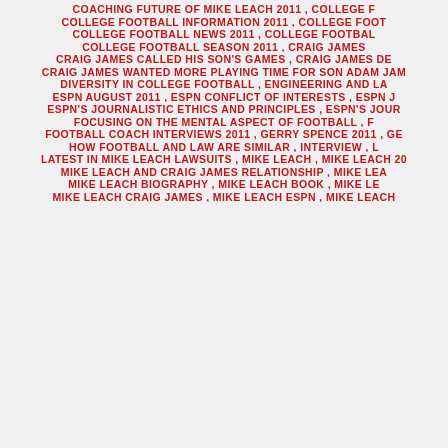COACHING FUTURE OF MIKE LEACH 2011 , COLLEGE F...
COLLEGE FOOTBALL INFORMATION 2011 , COLLEGE FOOT...
COLLEGE FOOTBALL NEWS 2011 , COLLEGE FOOTBAL...
COLLEGE FOOTBALL SEASON 2011 , CRAIG JAMES...
CRAIG JAMES CALLED HIS SON'S GAMES , CRAIG JAMES DE...
CRAIG JAMES WANTED MORE PLAYING TIME FOR SON ADAM JAM...
DIVERSITY IN COLLEGE FOOTBALL , ENGINEERING AND LA...
ESPN AUGUST 2011 , ESPN CONFLICT OF INTERESTS , ESPN J...
ESPN'S JOURNALISTIC ETHICS AND PRINCIPLES , ESPN'S JOUR...
FOCUSING ON THE MENTAL ASPECT OF FOOTBALL , F...
FOOTBALL COACH INTERVIEWS 2011 , GERRY SPENCE 2011 , GE...
HOW FOOTBALL AND LAW ARE SIMILAR , INTERVIEW , L...
LATEST IN MIKE LEACH LAWSUITS , MIKE LEACH , MIKE LEACH 20...
MIKE LEACH AND CRAIG JAMES RELATIONSHIP , MIKE LEA...
MIKE LEACH BIOGRAPHY , MIKE LEACH BOOK , MIKE LE...
MIKE LEACH CRAIG JAMES , MIKE LEACH ESPN , MIKE LEACH...